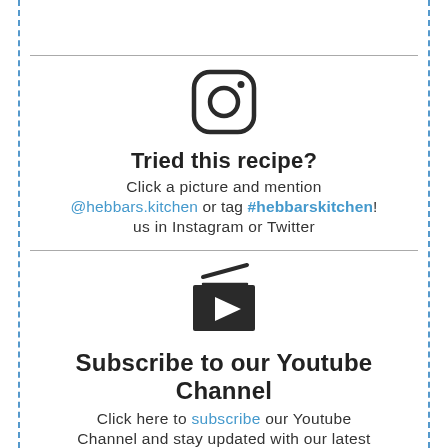[Figure (logo): Instagram logo icon — rounded square outline with circle and dot]
Tried this recipe?
Click a picture and mention @hebbars.kitchen or tag #hebbarskitchen! us in Instagram or Twitter
[Figure (illustration): YouTube-style play button icon — dark rectangle with triangle play symbol and clapperboard lines above]
Subscribe to our Youtube Channel
Click here to subscribe our Youtube Channel and stay updated with our latest